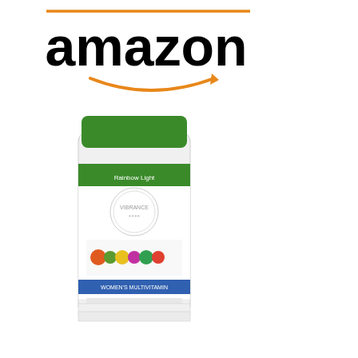[Figure (logo): Amazon logo with orange bar above and orange arrow below the word 'amazon' in black bold text]
[Figure (photo): Rainbow Light Vibrance supplement bottle with green cap, white label showing fruits and vegetables]
Rainbow Light Vibrance...
[Figure (other): Amazon 'Shop now' button with dark Amazon icon on left and golden/yellow background]
Pros:
+ Contains the active form of folate